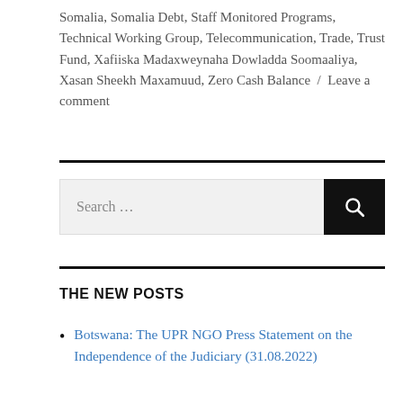Somalia, Somalia Debt, Staff Monitored Programs, Technical Working Group, Telecommunication, Trade, Trust Fund, Xafiiska Madaxweynaha Dowladda Soomaaliya, Xasan Sheekh Maxamuud, Zero Cash Balance / Leave a comment
THE NEW POSTS
Botswana: The UPR NGO Press Statement on the Independence of the Judiciary (31.08.2022)